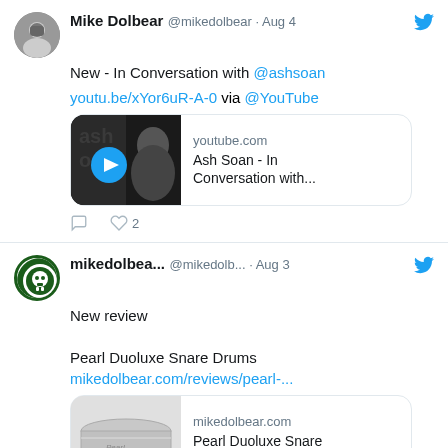[Figure (screenshot): Tweet by Mike Dolbear (@mikedolbear) on Aug 4. Text: New - In Conversation with @ashsoan. youtu.be/xYor6uR-A-0 via @YouTube. YouTube link card for Ash Soan - In Conversation with... with thumbnail showing play button and man's face. Actions: 0 comments, 2 likes.]
[Figure (screenshot): Tweet by mikedolbea... (@mikedolb...) on Aug 3. Text: New review. Pearl Duoluxe Snare Drums. mikedolbear.com/reviews/pearl-... Link card for Pearl Duoluxe Snare Drums - Mike Dolbear with drum thumbnail. Scroll-to-top button visible.]